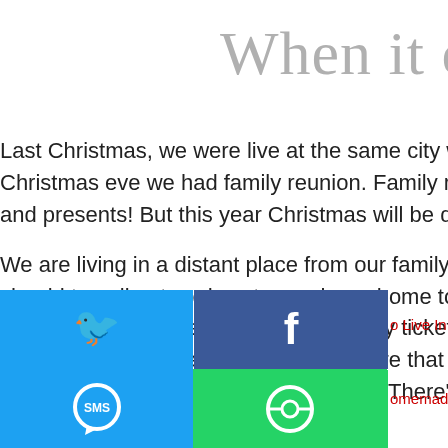When it comes the t…
Last Christmas, we were live at the same city with my family. Christmas eve we had family reunion. Family reunion was… and presents! But this year Christmas will be different for…
We are living in a distant place from our family. Different is… should traveling two days to reach our home town. Not on… about the money we should spent to buy tickets, pay hote… traveling back home. But I am pretty sure that my nephew… from me. They are so cute, I love them! There's no excuse… present for them.
[Figure (infographic): Social media share buttons grid: Twitter (blue), Facebook (dark blue), Email (gray), WhatsApp (green), SMS (blue), More/share (green)]
o Live In Distant Places
omemade Kids